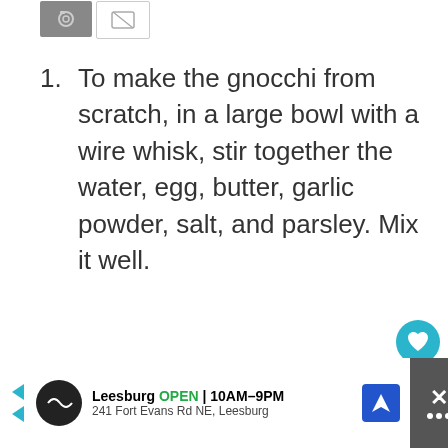[Figure (screenshot): Two image placeholder icons at the top of the page, one dark gray and one light/white]
To make the gnocchi from scratch, in a large bowl with a wire whisk, stir together the water, egg, butter, garlic powder, salt, and parsley. Mix it well.
[Figure (infographic): Teal heart/like button with count 45 and a share button on the right side]
Leesburg OPEN 10AM-9PM 241 Fort Evans Rd NE, Leesburg